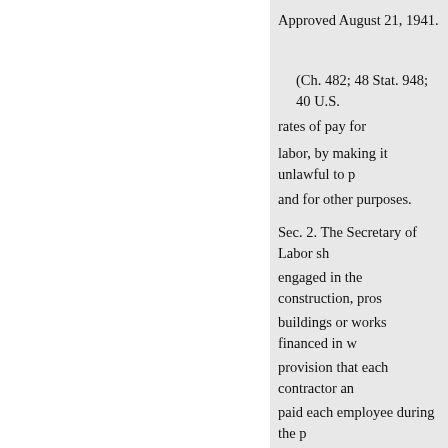Approved August 21, 1941.
(Ch. 482; 48 Stat. 948; 40 U.S. rates of pay for
labor, by making it unlawful to p and for other purposes.
Sec. 2. The Secretary of Labor sh engaged in the construction, pros buildings or works financed in w provision that each contractor an paid each employee during the pa (Criminal Code and Criminal Pro
Approved June 13, 1934.
EXCERPT FROM HOUSING
(Public Law 98-181; 97 Stat. 1